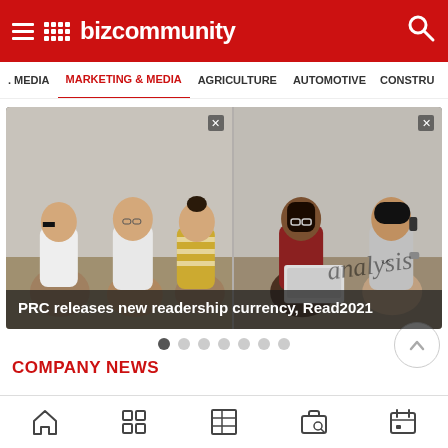BizCommunity
. MEDIA   MARKETING & MEDIA   AGRICULTURE   AUTOMOTIVE   CONSTRU
[Figure (photo): Screenshot of BizCommunity website showing a slideshow image of a group of young people sitting on the floor and another group of two women, with caption 'PRC releases new readership currency, Read2021' and slide navigation dots below]
COMPANY NEWS